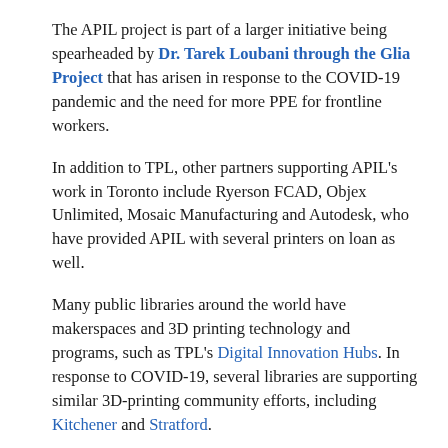The APIL project is part of a larger initiative being spearheaded by Dr. Tarek Loubani through the Glia Project that has arisen in response to the COVID-19 pandemic and the need for more PPE for frontline workers.
In addition to TPL, other partners supporting APIL's work in Toronto include Ryerson FCAD, Objex Unlimited, Mosaic Manufacturing and Autodesk, who have provided APIL with several printers on loan as well.
Many public libraries around the world have makerspaces and 3D printing technology and programs, such as TPL's Digital Innovation Hubs. In response to COVID-19, several libraries are supporting similar 3D-printing community efforts, including Kitchener and Stratford.